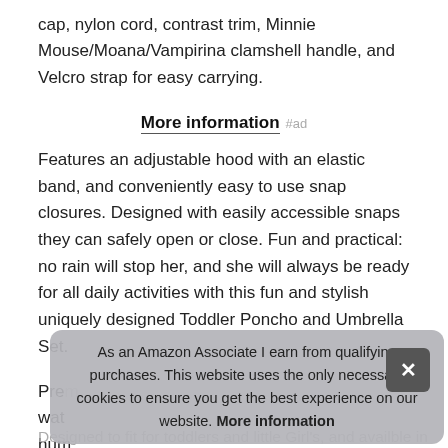cap, nylon cord, contrast trim, Minnie Mouse/Moana/Vampirina clamshell handle, and Velcro strap for easy carrying.
More information #ad
Features an adjustable hood with an elastic band, and conveniently easy to use snap closures. Designed with easily accessible snaps they can safely open or close. Fun and practical: no rain will stop her, and she will always be ready for all daily activities with this fun and stylish uniquely designed Toddler Poncho and Umbrella Set.
Prem... wat... hum... mou... Wip...
As an Amazon Associate I earn from qualifying purchases. This website uses the only necessary cookies to ensure you get the best experience on our website. More information
Designed to fit for toddlers and little Girl's, and available in